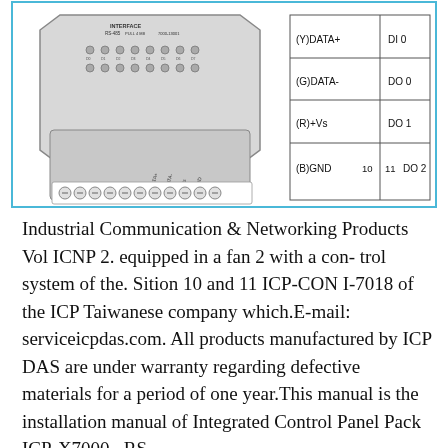[Figure (schematic): Engineering schematic of an industrial communication device (ICP-CON I-7018 module) showing connector pinout diagram. Left side shows the device body with LED indicators and terminal blocks. Right side shows a connector pinout table with labels: (Y)DATA+ / DI0, (G)DATA- / DO0, (R)+Vs / DO1, (B)GND 10 / 11 DO2. Bottom shows terminal screws labeled D07 through GND with a row of circular terminals.]
Industrial Communication & Networking Products Vol ICNP 2. equipped in a fan 2 with a con- trol system of the. Sition 10 and 11 ICP-CON I-7018 of the ICP Taiwanese company which.E-mail: serviceicpdas.com. All products manufactured by ICP DAS are under warranty regarding defective materials for a period of one year.This manual is the installation manual of Integrated Control Panel Pack ICP-X7000., RS-